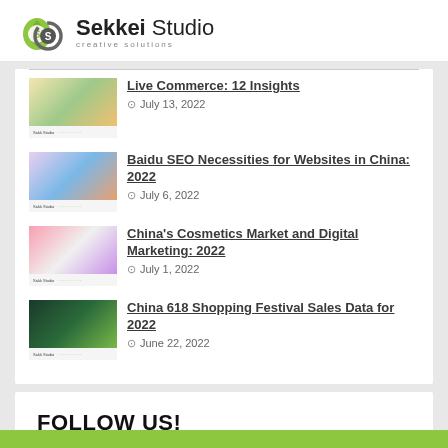[Figure (logo): Sekkei Studio logo with green/grey droplet icon and text 'Sekkei Studio / creative solutions']
Live Commerce: 12 Insights — July 13, 2022
Baidu SEO Necessities for Websites in China: 2022 — July 6, 2022
China's Cosmetics Market and Digital Marketing: 2022 — July 1, 2022
China 618 Shopping Festival Sales Data for 2022 — June 22, 2022
FOLLOW US!